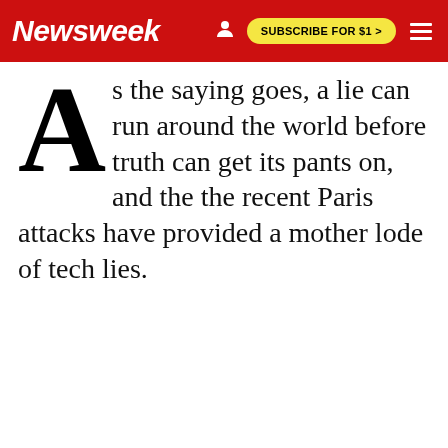Newsweek  SUBSCRIBE FOR $1 >
As the saying goes, a lie can run around the world before truth can get its pants on, and the the recent Paris attacks have provided a mother lode of tech lies.